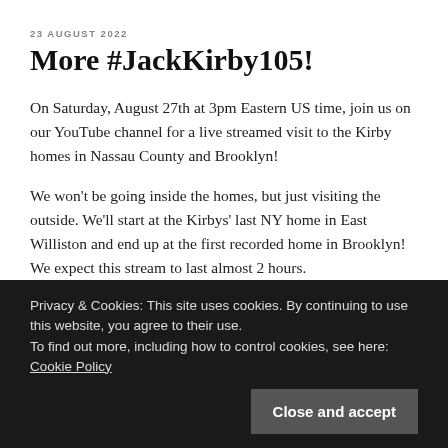23 AUGUST 2022
More #JackKirby105!
On Saturday, August 27th at 3pm Eastern US time, join us on our YouTube channel for a live streamed visit to the Kirby homes in Nassau County and Brooklyn!
We won't be going inside the homes, but just visiting the outside. We'll start at the Kirbys' last NY home in East Williston and end up at the first recorded home in Brooklyn! We expect this stream to last almost 2 hours.
Where: YouTube & Facebook
Privacy & Cookies: This site uses cookies. By continuing to use this website, you agree to their use.
To find out more, including how to control cookies, see here: Cookie Policy